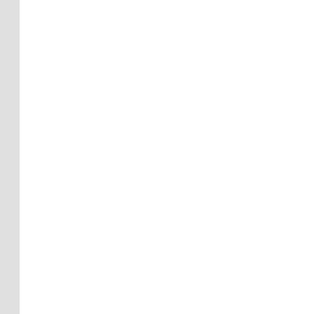house prices crash?
Where are we in the global investment cycle and what's the risk of a 1987 style crash?
Money steps for women
Resources on our site to help you, your family and your friends.
Australian Dietary Guidelines and healthy eating chart (PDF)
How to retire, your way
Prepare for retirement without missing out today